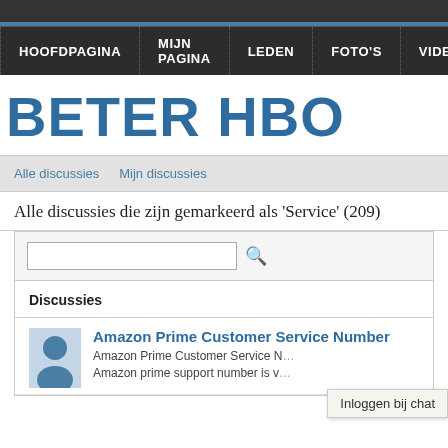HOOFDPAGINA  MIJN PAGINA  LEDEN  FOTO'S  VIDEO'S
BETER HBO
Alle discussies   Mijn discussies
Alle discussies die zijn gemarkeerd als 'Service' (209)
Discussies
Amazon Prime Customer Service Number
Amazon Prime Customer Service Number Amazon prime support number is v...
Inloggen bij chat